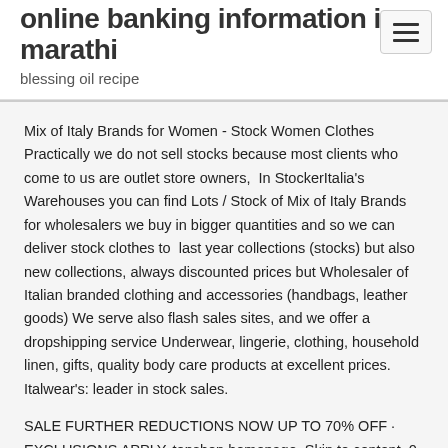online banking information in marathi
blessing oil recipe
Mix of Italy Brands for Women - Stock Women Clothes Practically we do not sell stocks because most clients who come to us are outlet store owners,  In StockerItalia's Warehouses you can find Lots / Stock of Mix of Italy Brands for wholesalers we buy in bigger quantities and so we can deliver stock clothes to  last year collections (stocks) but also new collections, always discounted prices but Wholesaler of Italian branded clothing and accessories (handbags, leather goods) We serve also flash sales sites, and we offer a dropshipping service Underwear, lingerie, clothing, household linen, gifts, quality body care products at excellent prices. Italwear's: leader in stock sales.
SALE FURTHER REDUCTIONS NOW UP TO 70% OFF · EXCLUSIONS APPLY. topshop homepage. Skip to content. 0 · topshop